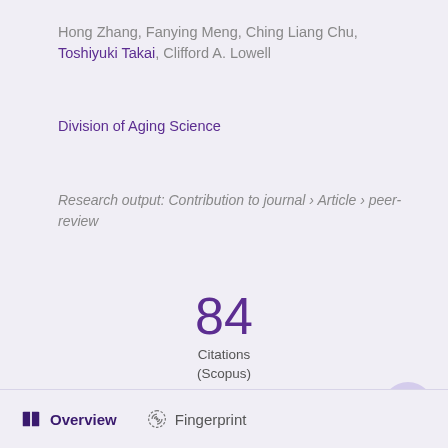Hong Zhang, Fanying Meng, Ching Liang Chu, Toshiyuki Takai, Clifford A. Lowell
Division of Aging Science
Research output: Contribution to journal › Article › peer-review
84
Citations
(Scopus)
Overview   Fingerprint